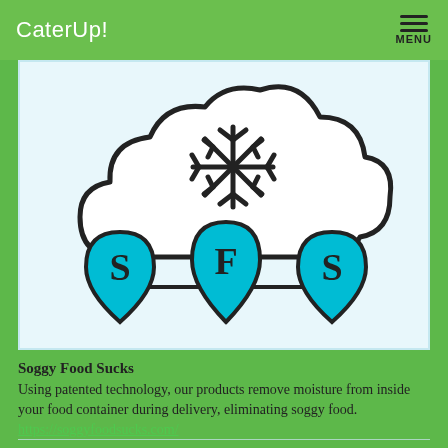CaterUp!  MENU
[Figure (illustration): SFS (Soggy Food Sucks) logo: a cloud with a snowflake inside, and three teardrop/map-pin shapes in cyan with letters S, F, S on them, connected by a horizontal line. Background is light blue.]
Soggy Food Sucks
Using patented technology, our products remove moisture from inside your food container during delivery, eliminating soggy food.
https://soggyfoodsucks.com/